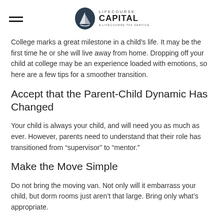LifeCourse Capital & LifeCourse Tax Service
College marks a great milestone in a child’s life. It may be the first time he or she will live away from home. Dropping off your child at college may be an experience loaded with emotions, so here are a few tips for a smoother transition.
Accept that the Parent-Child Dynamic Has Changed
Your child is always your child, and will need you as much as ever. However, parents need to understand that their role has transitioned from “supervisor” to “mentor.”
Make the Move Simple
Do not bring the moving van. Not only will it embarrass your child, but dorm rooms just aren’t that large. Bring only what’s appropriate.